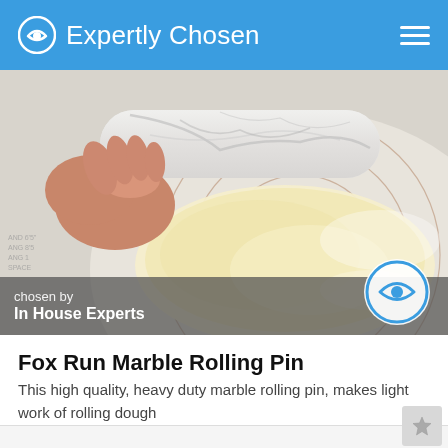Expertly Chosen
[Figure (photo): Person rolling dough on a silicone baking mat using a white marble rolling pin]
chosen by
In House Experts
Fox Run Marble Rolling Pin
This high quality, heavy duty marble rolling pin, makes light work of rolling dough